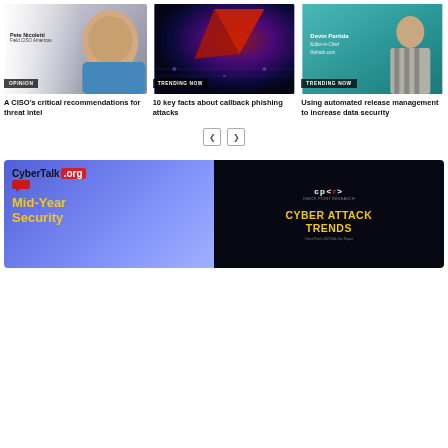[Figure (photo): Photo of Pete Nicoletti, Field CISO Americas, with OPINION badge]
A CISO's critical recommendations for threat intel
[Figure (photo): Abstract blue/red cybersecurity image with TRENDING NOW badge]
10 key facts about callback phishing attacks
[Figure (photo): Photo of Devin Partida, Editor-in-Chief, Rehack.com with TRENDING NOW badge]
Using automated release management to increase data security
[Figure (infographic): CyberTalk.org Mid-Year Security ad banner with Check Point Cyber Attack Trends graphic]